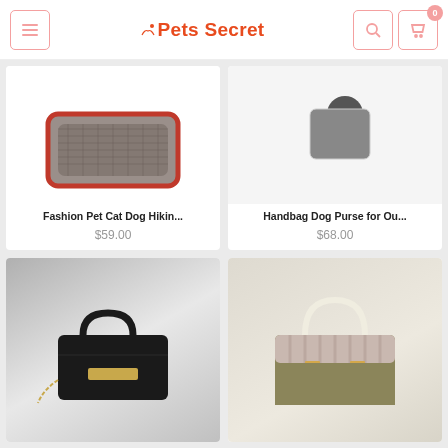Pets Secret
[Figure (photo): Fashion Pet Cat Dog hiking carrier bag, gray with red trim, partially visible from top]
Fashion Pet Cat Dog Hikin...
$59.00
[Figure (photo): Handbag Dog Purse for Outdoor, partially visible from top]
Handbag Dog Purse for Ou...
$68.00
[Figure (photo): Black luxury handbag with gold hardware and chain strap]
[Figure (photo): Tan/gold structured tote bag with rope handles and striped detail]